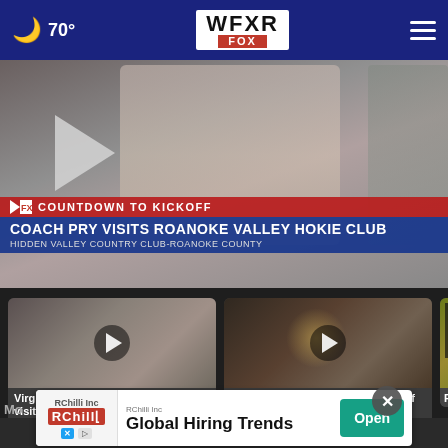🌙 70° — WFXR FOX
[Figure (screenshot): Video thumbnail showing a man speaking at a podium with a microphone, with a play button overlay. Lower-third graphic reads: COUNTDOWN TO KICKOFF / COACH PRY VISITS ROANOKE VALLEY HOKIE CLUB / HIDDEN VALLEY COUNTRY CLUB-ROANOKE COUNTY]
COUNTDOWN TO KICKOFF
COACH PRY VISITS ROANOKE VALLEY HOKIE CLUB
HIDDEN VALLEY COUNTRY CLUB-ROANOKE COUNTY
[Figure (screenshot): Video thumbnail of Virginia Tech head coach Brent Pry, with play button overlay]
Virginia Tech head coach Brent Pry visits...
2days ago
[Figure (screenshot): Video thumbnail of a football stadium at night, with play button overlay]
Friday Night Blitz Week 1 : Game of the Week...
2days ago
[Figure (screenshot): Partially visible video thumbnail with green/yellow background (Notre Dame colors)]
Friday 1 – Au
[Figure (infographic): Advertisement banner: RChilli Inc — Global Hiring Trends — Open button]